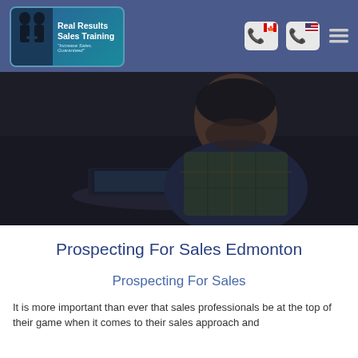Real Results Sales Training — "Increase Sales. Guaranteed"
[Figure (photo): Hero image of a man with a beard wearing a plaid shirt, working at a laptop in a dimly lit environment. Dark overlay applied.]
Prospecting For Sales Edmonton
Prospecting For Sales
It is more important than ever that sales professionals be at the top of their game when it comes to their sales approach and...